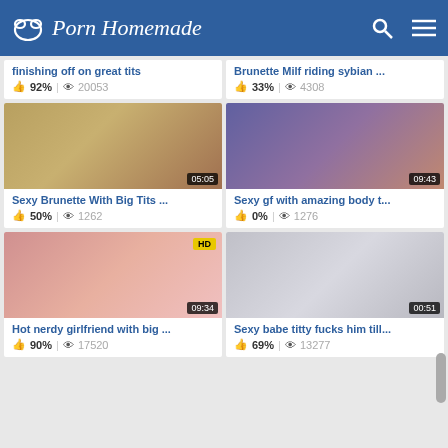Porn Homemade
finishing off on great tits | 92% | 20053
Brunette Milf riding sybian ... | 33% | 4308
[Figure (photo): Video thumbnail 05:05]
Sexy Brunette With Big Tits ... | 50% | 1262
[Figure (photo): Video thumbnail 09:43]
Sexy gf with amazing body t... | 0% | 1276
[Figure (photo): Video thumbnail HD 09:34]
Hot nerdy girlfriend with big ... | 90% | 17520
[Figure (photo): Video thumbnail 00:51]
Sexy babe titty fucks him till... | 69% | 13277